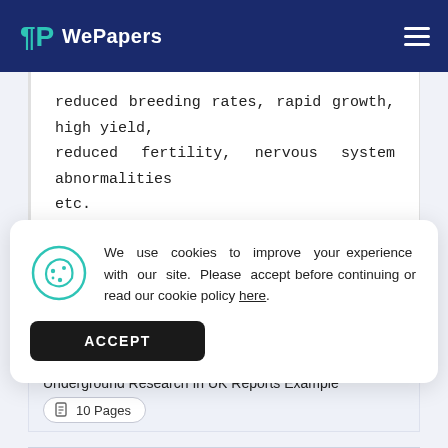WePapers
reduced breeding rates, rapid growth, high yield, reduced fertility, nervous system abnormalities etc.
We use cookies to improve your experience with our site. Please accept before continuing or read our cookie policy here.
ACCEPT
Underground Research In UK Reports Example
10 Pages